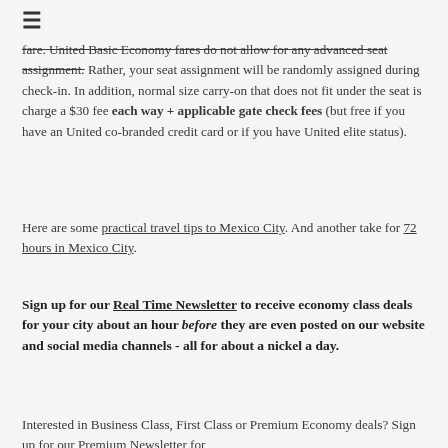≡
fare. United Basic Economy fares do not allow for any advanced seat assignment. Rather, your seat assignment will be randomly assigned during check-in. In addition, normal size carry-on that does not fit under the seat is charge a $30 fee each way + applicable gate check fees (but free if you have an United co-branded credit card or if you have United elite status).
Here are some practical travel tips to Mexico City. And another take for 72 hours in Mexico City.
Sign up for our Real Time Newsletter to receive economy class deals for your city about an hour before they are even posted on our website and social media channels - all for about a nickel a day.
Interested in Business Class, First Class or Premium Economy deals? Sign up for our Premium Newsletter for